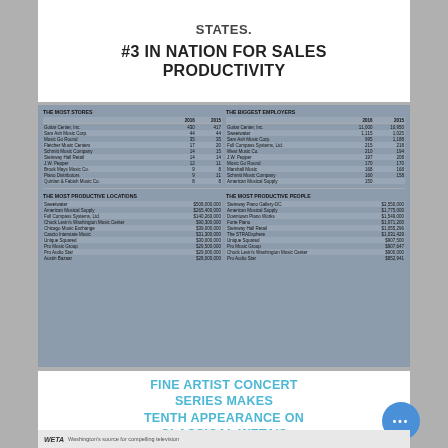STATES.
#3 IN NATION FOR SALES PRODUCTIVITY
| THE MOST STORES | 2016 | 2015 |
| --- | --- | --- |
| Guitar Center, Inc. | 430 | 417 |
| Sam Ash Music Corp. | 44 | 44 |
| Music Go Round | 35 | 35 |
| Fletcher Music Centers | 17 | 20 |
| Schmitt Music Company | 14 | 15 |
| Steinway Hall Retail | 14 | 14 |
| J.W. Pepper | 12 | 11 |
| Brook Mays Music Co. | 9 | 8 |
| Piano Distributors | 9 | 11 |
| Quinlan & Fabish Music Co. | 8 | 8 |
| THE BIGGEST EMPLOYERS | 2016 | 2015 |
| --- | --- | --- |
| Guitar Center, Inc. | 11,000 | 10,950 |
| Sweetwater | 1,115 | 1,025 |
| Sam Ash Music Corp. | 995 | 1,188 |
| Full Compass Systems, Ltd. | 215 | 218 |
| West Music Co. | 210 | 194 |
| J.W. Pepper | 197 | 208 |
| Music Go Round | 170 | 170 |
| Marshall Music | 168 | 168 |
| Schmitt Music Company | 160 | 158 |
| American Musical Supply | 150 |  |
| THE MOST PRODUCTIVE LOCATIONS |  |
| --- | --- |
| Sweetwater | $508,000,000 |
| American Musical Supply | $265,400,000 |
| Full Compass Systems, Ltd. | $140,260,000 |
| Chuck Levin's Washington Music Center | $90,300,000 |
| Chicago Music Exchange | $39,000,000 |
| Cascio Interstate Music | $31,300,000 |
| Unique Squared | $30,000,000 |
| Pro Music Group | $29,500,000 |
| Pro Audio Star | $29,000,000 |
| Austin Bazaar | $28,000,000 |
| THE MOST PRODUCTIVE PEOPLE |  |
| --- | --- |
| Steinway Piano Gallery-DC | $2,550,000 |
| American Musical Supply | $1,775,000 |
| Downtown Piano Works | $1,549,000 |
| Forte Piano | $1,071,200 |
| Steinway Hall Retail | $1,055,296 |
| The STRADsphere | $1,031,429 |
| Unique Squared | $907,500 |
| Pro Music Group | $907,647 |
| Chuck Levin's Washington Music Center | $900,000 |
| Pro Audio Star | $852,941 |
FINE ARTIST CONCERT SERIES MAKES TENTH APPEARANCE ON CLASSICAL WETA'S FRONT ROW WASHINGTON